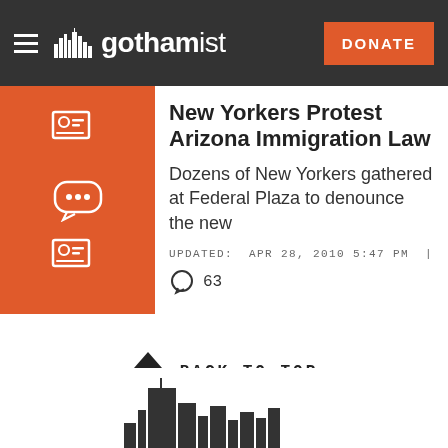gothamist | DONATE
New Yorkers Protest Arizona Immigration Law
Dozens of New Yorkers gathered at Federal Plaza to denounce the new
UPDATED: APR 28, 2010 5:47 PM | 63
BACK TO TOP
[Figure (illustration): Gothamist skyline logo illustration showing city buildings silhouette at bottom of page]